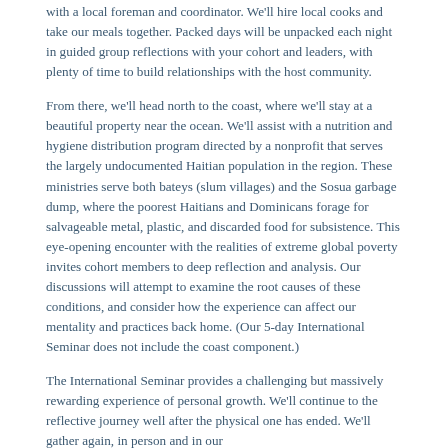with a local foreman and coordinator. We'll hire local cooks and take our meals together. Packed days will be unpacked each night in guided group reflections with your cohort and leaders, with plenty of time to build relationships with the host community.
From there, we'll head north to the coast, where we'll stay at a beautiful property near the ocean. We'll assist with a nutrition and hygiene distribution program directed by a nonprofit that serves the largely undocumented Haitian population in the region. These ministries serve both bateys (slum villages) and the Sosua garbage dump, where the poorest Haitians and Dominicans forage for salvageable metal, plastic, and discarded food for subsistence. This eye-opening encounter with the realities of extreme global poverty invites cohort members to deep reflection and analysis. Our discussions will attempt to examine the root causes of these conditions, and consider how the experience can affect our mentality and practices back home. (Our 5-day International Seminar does not include the coast component.)
The International Seminar provides a challenging but massively rewarding experience of personal growth. We'll continue to the reflective journey well after the physical one has ended. We'll gather again, in person and in our